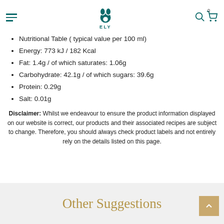ELY (logo with navigation icons)
Nutritional Table ( typical value per 100 ml)
Energy: 773 kJ / 182 Kcal
Fat: 1.4g / of which saturates: 1.06g
Carbohydrate: 42.1g / of which sugars: 39.6g
Protein: 0.29g
Salt: 0.01g
Disclaimer: Whilst we endeavour to ensure the product information displayed on our website is correct, our products and their associated recipes are subject to change. Therefore, you should always check product labels and not entirely rely on the details listed on this page.
Other Suggestions